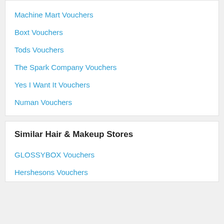Machine Mart Vouchers
Boxt Vouchers
Tods Vouchers
The Spark Company Vouchers
Yes I Want It Vouchers
Numan Vouchers
Similar Hair & Makeup Stores
GLOSSYBOX Vouchers
Hershesons Vouchers